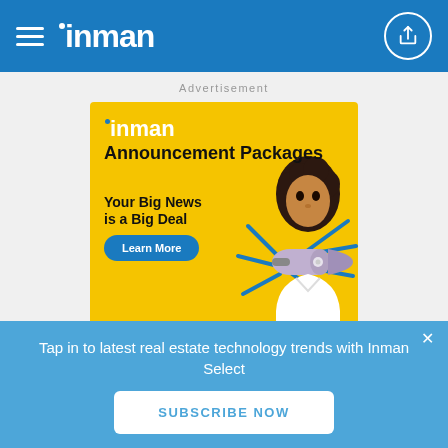inman
Advertisement
[Figure (infographic): Inman Announcement Packages advertisement banner with yellow background. Shows 'inman' logo in white, 'Announcement Packages' headline in black, 'Your Big News is a Big Deal' slogan, a 'Learn More' blue button, and a person holding a megaphone on the right side.]
Tap in to latest real estate technology trends with Inman Select
SUBSCRIBE NOW